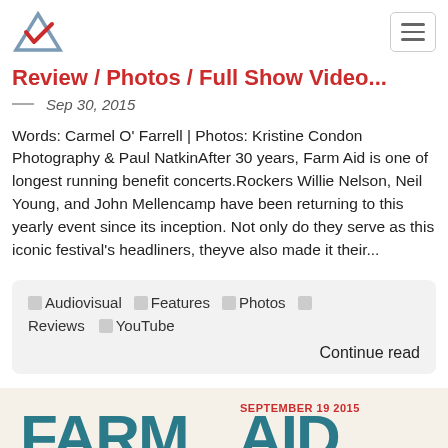Review / Photos / Full Show Video...
Sep 30, 2015
Words: Carmel O' Farrell | Photos: Kristine Condon Photography & Paul NatkinAfter 30 years, Farm Aid is one of longest running benefit concerts.Rockers Willie Nelson, Neil Young, and John Mellencamp have been returning to this yearly event since its inception. Not only do they serve as this iconic festival's headliners, theyve also made it their...
Audiovisual
Features
Photos
Reviews
YouTube
Continue read
[Figure (photo): Farm Aid September 19 2015 logo/banner on light background]